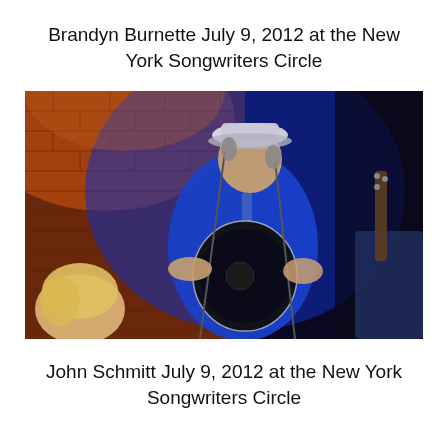Brandyn Burnette July 9, 2012 at the New York Songwriters Circle
[Figure (photo): A man wearing a blue jacket and white fedora hat playing an acoustic guitar at a microphone stand on a dimly lit stage with brick wall background. A blonde woman is visible in the lower left foreground. Another person is partially visible on the right side.]
John Schmitt July 9, 2012 at the New York Songwriters Circle